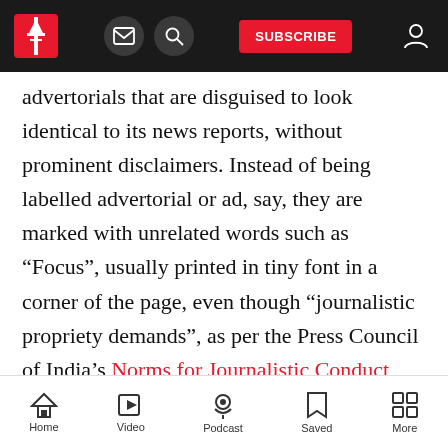[Navigation bar with logo, email icon, search icon, SUBSCRIBE button, user icon]
advertorials that are disguised to look identical to its news reports, without prominent disclaimers. Instead of being labelled advertorial or ad, say, they are marked with unrelated words such as “Focus”, usually printed in tiny font in a corner of the page, even though “journalistic propriety demands”, as per the Press Council of India’s Norms for Journalistic Conduct, “that advertisements must be clearly distinguishable from news content carried in a newspaper”.
The...
Home  Video  Podcast  Saved  More